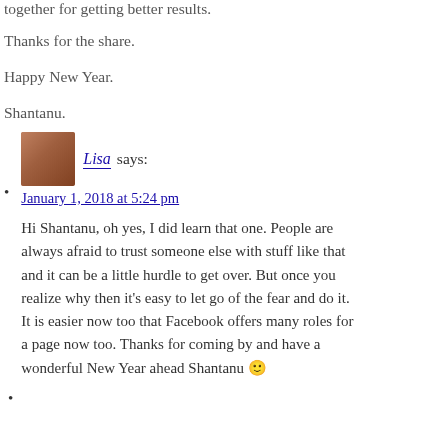together for getting better results.
Thanks for the share.
Happy New Year.
Shantanu.
Lisa says: January 1, 2018 at 5:24 pm — Hi Shantanu, oh yes, I did learn that one. People are always afraid to trust someone else with stuff like that and it can be a little hurdle to get over. But once you realize why then it's easy to let go of the fear and do it. It is easier now too that Facebook offers many roles for a page now too. Thanks for coming by and have a wonderful New Year ahead Shantanu 🙂